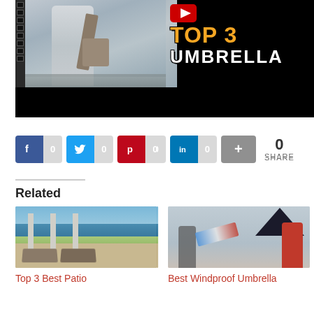[Figure (screenshot): YouTube video thumbnail showing a woman in a gray coat holding a bag, with 'TOP 3 UMBRELLA' text overlay in orange and white with black outline, and YouTube logo icon. Bottom portion is black (video player).]
[Figure (infographic): Social share buttons row: Facebook (f, 0), Twitter (bird icon, 0), Pinterest (p, 0), LinkedIn (in, 0), More (+) button, and a share count showing 0 SHARE]
Related
[Figure (photo): Photo of a patio area with lounge chairs, columns, and ocean view in the background]
Top 3 Best Patio
[Figure (photo): Photo of a woman in a red outfit holding an umbrella being blown by wind, and another person nearby]
Best Windproof Umbrella